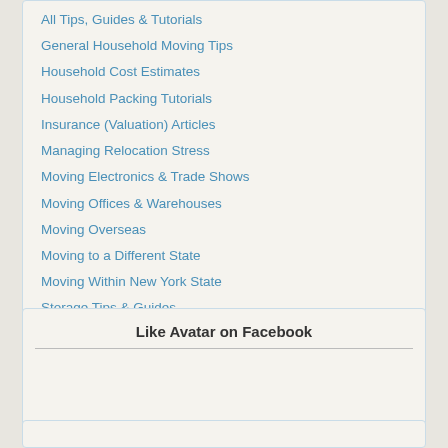All Tips, Guides & Tutorials
General Household Moving Tips
Household Cost Estimates
Household Packing Tutorials
Insurance (Valuation) Articles
Managing Relocation Stress
Moving Electronics & Trade Shows
Moving Offices & Warehouses
Moving Overseas
Moving to a Different State
Moving Within New York State
Storage Tips & Guides
Tips on How to Choose a Mover
Understanding Loss & Damage Claims
Like Avatar on Facebook